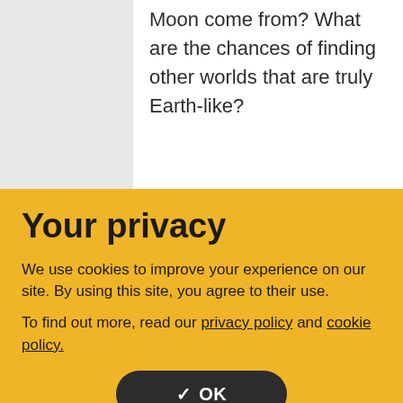Moon come from? What are the chances of finding other worlds that are truly Earth-like?
Your privacy
We use cookies to improve your experience on our site. By using this site, you agree to their use.
To find out more, read our privacy policy and cookie policy.
✓ OK